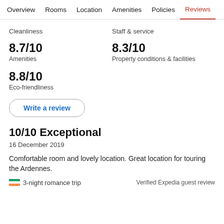Overview  Rooms  Location  Amenities  Policies  Reviews
Cleanliness
Staff & service
8.7/10
Amenities
8.3/10
Property conditions & facilities
8.8/10
Eco-friendliness
Write a review
10/10 Exceptional
16 December 2019
Comfortable room and lovely location. Great location for touring the Ardennes.
🇮🇪 3-night romance trip
Verified Expedia guest review